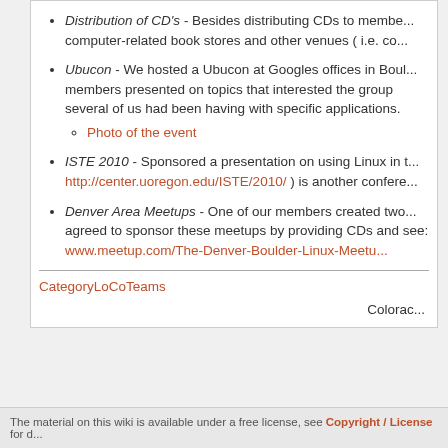Distribution of CD's - Besides distributing CDs to members, computer-related book stores and other venues ( i.e. co...
Ubucon - We hosted a Ubucon at Googles offices in Boul... members presented on topics that interested the group several of us had been having with specific applications.
Photo of the event
ISTE 2010 - Sponsored a presentation on using Linux in t... http://center.uoregon.edu/ISTE/2010/ ) is another confere...
Denver Area Meetups - One of our members created two... agreed to sponsor these meetups by providing CDs and see: www.meetup.com/The-Denver-Boulder-Linux-Meetu...
CategoryLoCoTeams
Colorac...
The material on this wiki is available under a free license, see Copyright / License for d...